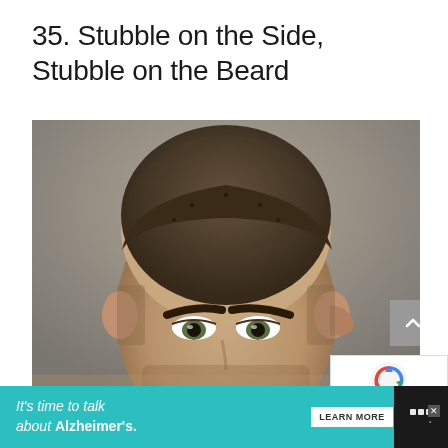35. Stubble on the Side, Stubble on the Beard
[Figure (photo): Close-up photo of a man with a very short buzz cut hairstyle and stubble beard, photographed from the front, showing the top of his head and face down to approximately nose level. The background is a neutral gray. The man has dark hair, visible stubble on his face, dark eyebrows, and light-colored eyes.]
Privacy - Terms
It's time to talk about Alzheimer's. LEARN MORE